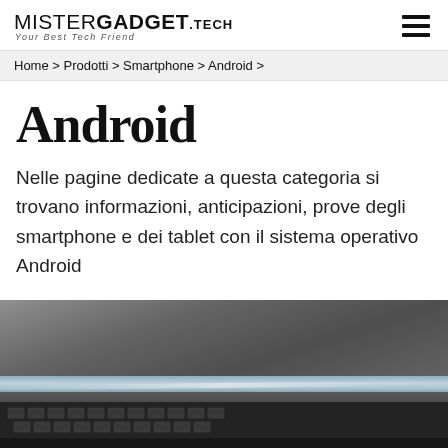MISTERGADGET.TECH — Your Best Tech Friend
Home > Prodotti > Smartphone > Android >
Android
Nelle pagine dedicate a questa categoria si trovano informazioni, anticipazioni, prove degli smartphone e dei tablet con il sistema operativo Android
[Figure (photo): Close-up photo of a laptop or tablet device showing the edge of the screen and keyboard area, dark metallic finish with a light reflection along the screen edge]